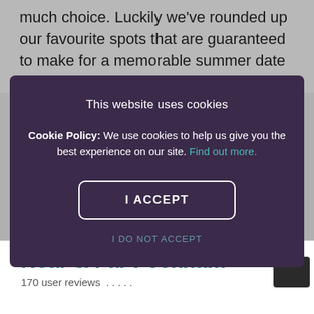much choice. Luckily we've rounded up our favourite spots that are guaranteed to make for a memorable summer date night in London.
This website uses cookies

Cookie Policy: We use cookies to help us give you the best experience on our site. Find out more.

I ACCEPT

I DO NOT ACCEPT
Near & Far Peckham
170 user reviews . . . . .